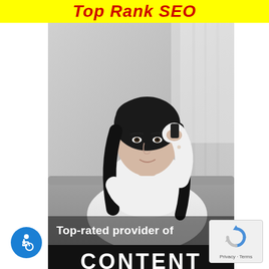Top Rank SEO
[Figure (photo): Woman with long dark hair wearing a white sweater, talking on a phone while using a laptop, seated on a gray sofa with curtains in the background. Black and white / desaturated photo style.]
Top-rated provider of
CONTENT